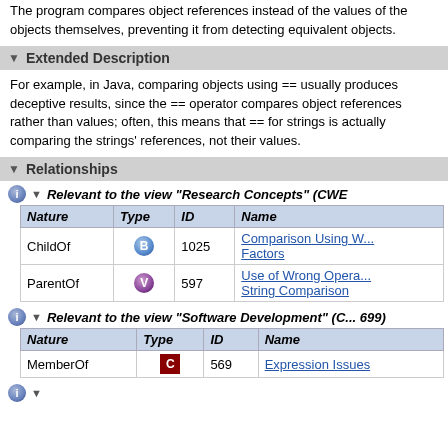The program compares object references instead of the values of the objects themselves, preventing it from detecting equivalent objects.
Extended Description
For example, in Java, comparing objects using == usually produces deceptive results, since the == operator compares object references rather than values; often, this means that == for strings is actually comparing the strings' references, not their values.
Relationships
Relevant to the view "Research Concepts" (CWE...
| Nature | Type | ID | Name |
| --- | --- | --- | --- |
| ChildOf | B | 1025 | Comparison Using Wrong Factors |
| ParentOf | V | 597 | Use of Wrong Operator for String Comparison |
Relevant to the view "Software Development" (C... 699)
| Nature | Type | ID | Name |
| --- | --- | --- | --- |
| MemberOf | C | 569 | Expression Issues |